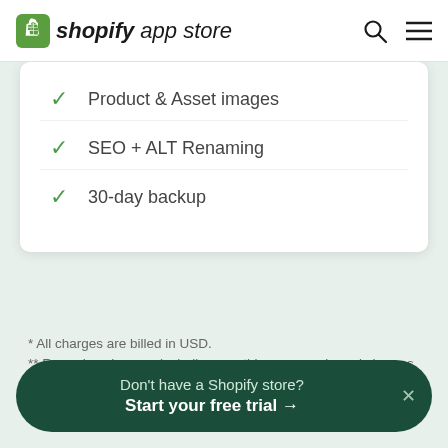shopify app store
Product & Asset images
SEO + ALT Renaming
30-day backup
* All charges are billed in USD.
** Recurring charges, including monthly or usage-based charges, are billed every 30 days.
Don't have a Shopify store? Start your free trial →